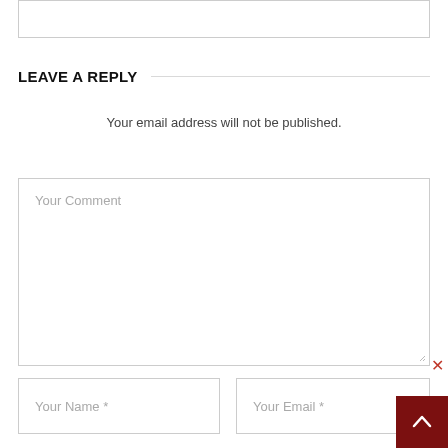[Figure (screenshot): Partial top border of a form box at the top of the page]
LEAVE A REPLY
Your email address will not be published.
[Figure (screenshot): Comment textarea with placeholder text 'Your Comment']
[Figure (screenshot): Name input field with placeholder 'Your Name *']
[Figure (screenshot): Email input field with placeholder 'Your Email *']
[Figure (screenshot): Scroll-to-top dark red button with up arrow, and a red X close icon above it]